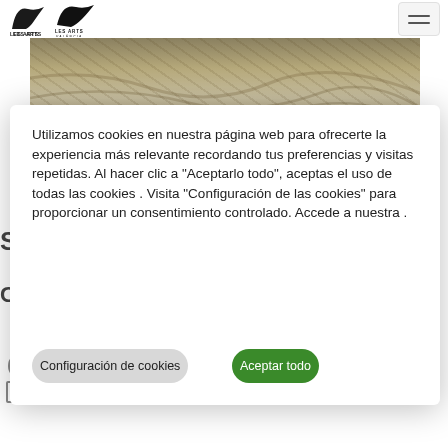[Figure (logo): Les Arts Valencia logo - black shark fin shape with 'LES ARTS VALÈNCIA' text]
[Figure (photo): Cropped sandy or muddy textured surface photograph]
Utilizamos cookies en nuestra página web para ofrecerte la experiencia más relevante recordando tus preferencias y visitas repetidas. Al hacer clic a "Aceptarlo todo", aceptas el uso de todas las cookies . Visita "Configuración de las cookies" para proporcionar un consentimiento controlado. Accede a nuestra .
Configuración de cookies
Aceptar todo